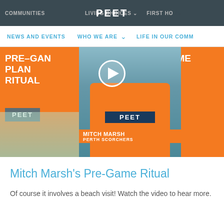COMMUNITIES PEET LIVING CHOICES FIRST HOME
NEWS AND EVENTS   WHO WE ARE   LIFE IN OUR COMM
[Figure (screenshot): Video thumbnail showing Mitch Marsh in Perth Scorchers orange jersey with PEET sponsor logo. Orange panels on left and right show PRE-GAME PLAN RITUAL text. Center panel has a play button overlay. MITCH MARSH / PERTH SCORCHERS name bar at bottom.]
Mitch Marsh's Pre-Game Ritual
Of course it involves a beach visit! Watch the video to hear more.